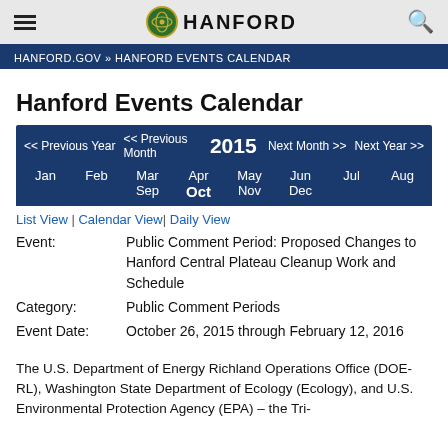HANFORD
HANFORD.GOV » HANFORD EVENTS CALENDAR
Hanford Events Calendar
<< Previous Year  << Previous Month  2015  Next Month >>  Next Year >>  Jan Feb Mar Sep  Apr Oct  May Nov  Jun Dec  Jul  Aug
List View | Calendar View| Daily View
Event: Public Comment Period: Proposed Changes to Hanford Central Plateau Cleanup Work and Schedule
Category: Public Comment Periods
Event Date: October 26, 2015 through February 12, 2016
The U.S. Department of Energy Richland Operations Office (DOE-RL), Washington State Department of Ecology (Ecology), and U.S. Environmental Protection Agency (EPA) – the Tri-